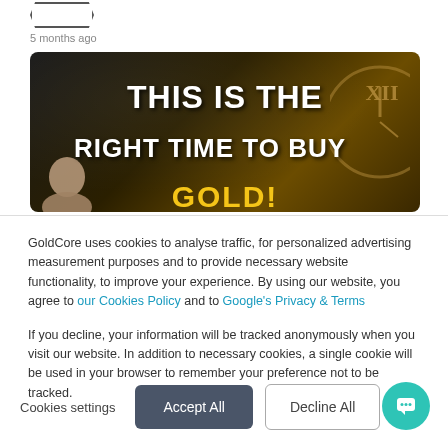[Figure (infographic): Promotional banner for GoldCore with dark starry background and a clock showing XII. Text reads THIS IS THE RIGHT TIME TO BUY GOLD!]
5 months ago
GoldCore uses cookies to analyse traffic, for personalized advertising measurement purposes and to provide necessary website functionality, to improve your experience. By using our website, you agree to our Cookies Policy and to Google's Privacy & Terms
If you decline, your information will be tracked anonymously when you visit our website. In addition to necessary cookies, a single cookie will be used in your browser to remember your preference not to be tracked.
Cookies settings | Accept All | Decline All